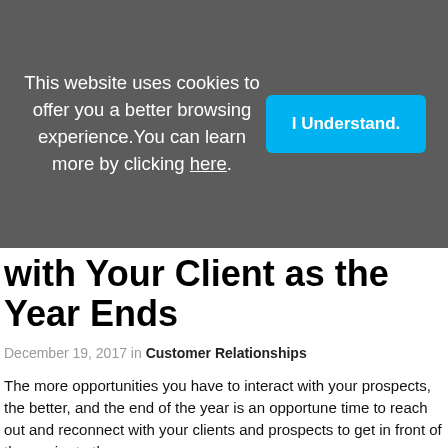This website uses cookies to offer you a better browsing experience. You can learn more by clicking here.
I Understand.
with Your Client as the Year Ends
December 19, 2017 in Customer Relationships
The more opportunities you have to interact with your prospects, the better, and the end of the year is an opportune time to reach out and reconnect with your clients and prospects to get in front of them prior to the new year.
Read more >